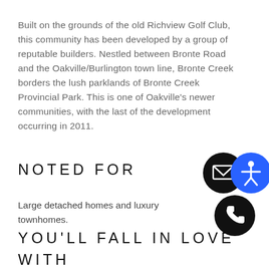Built on the grounds of the old Richview Golf Club, this community has been developed by a group of reputable builders. Nestled between Bronte Road and the Oakville/Burlington town line, Bronte Creek borders the lush parklands of Bronte Creek Provincial Park. This is one of Oakville's newer communities, with the last of the development occurring in 2011.
NOTED FOR
Large detached homes and luxury townhomes.
YOU'LL FALL IN LOVE WITH
[Figure (infographic): Three circular icon buttons: an envelope/email icon on black circle, an accessibility icon on blue circle, and a phone icon on black circle]